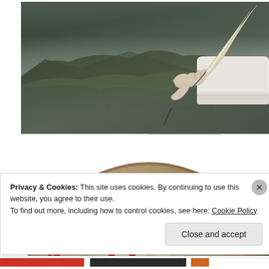[Figure (photo): Coastal cliffs with ocean view, green vegetation on steep cliffs, grey-blue sea and sky]
[Figure (illustration): Black and white vintage illustration of a hand holding a quill pen, writing]
[Figure (logo): AoR logo - black emblem of figures under a tree above red italic AoR lettering]
[Figure (photo): Circular photo of a Romanesque stone carving showing Christ in Majesty with surrounding figures, blue-grey stone tones]
Privacy & Cookies: This site uses cookies. By continuing to use this website, you agree to their use.
To find out more, including how to control cookies, see here: Cookie Policy
Close and accept